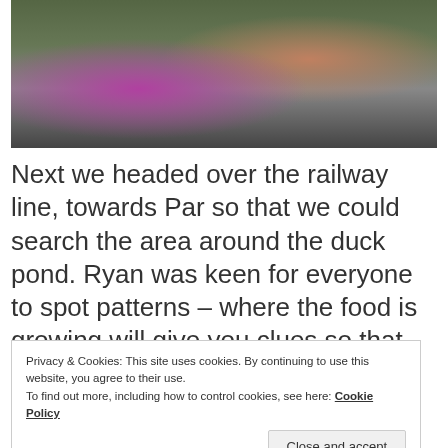[Figure (photo): Photo of people in a park with a path; a person in a pink/purple floral top is visible, along with a white dog and people seated on the right side in a green outdoor setting.]
Next we headed over the railway line, towards Par so that we could search the area around the duck pond. Ryan was keen for everyone to spot patterns – where the food is growing will give you clues so that you can find it elsewhere.
Privacy & Cookies: This site uses cookies. By continuing to use this website, you agree to their use.
To find out more, including how to control cookies, see here: Cookie Policy
Close and accept
damp, shady places between March and